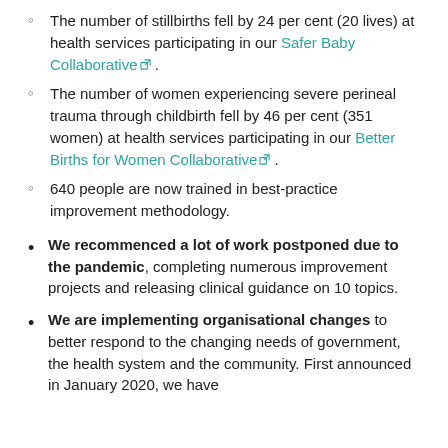The number of stillbirths fell by 24 per cent (20 lives) at health services participating in our Safer Baby Collaborative.
The number of women experiencing severe perineal trauma through childbirth fell by 46 per cent (351 women) at health services participating in our Better Births for Women Collaborative.
640 people are now trained in best-practice improvement methodology.
We recommenced a lot of work postponed due to the pandemic, completing numerous improvement projects and releasing clinical guidance on 10 topics.
We are implementing organisational changes to better respond to the changing needs of government, the health system and the community. First announced in January 2020, we have